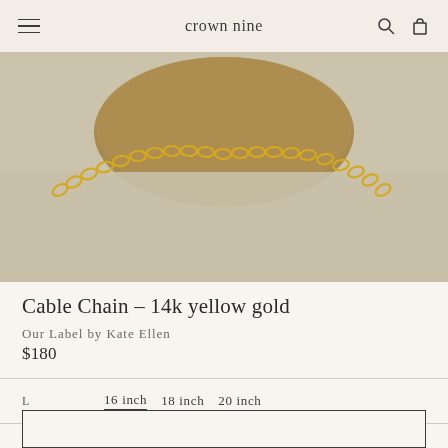crown nine
[Figure (photo): Close-up photo of a 14k yellow gold cable chain necklace draped over a smooth stone prop on a linen fabric background]
Cable Chain – 14k yellow gold
Our Label by Kate Ellen
$180
Length: 16 inch  18 inch  20 inch